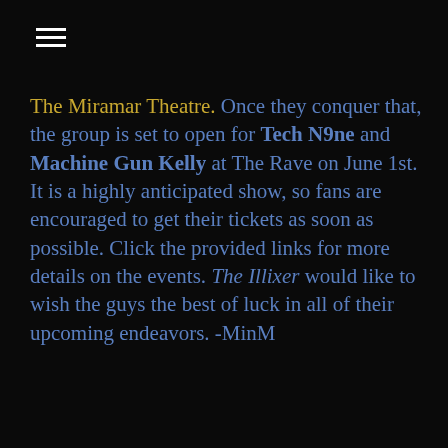[Figure (other): Hamburger menu icon (three white horizontal lines) in top left corner]
The Miramar Theatre. Once they conquer that, the group is set to open for Tech N9ne and Machine Gun Kelly at The Rave on June 1st. It is a highly anticipated show, so fans are encouraged to get their tickets as soon as possible. Click the provided links for more details on the events. The Illixer would like to wish the guys the best of luck in all of their upcoming endeavors. -MinM
Share this:
Facebook
Twitter
BASS HEAD MUSIC
DUMB HOEZ
J.D. THE CHIEF
MACHINE GUN KELLY
MINM
MISTA MARCUS